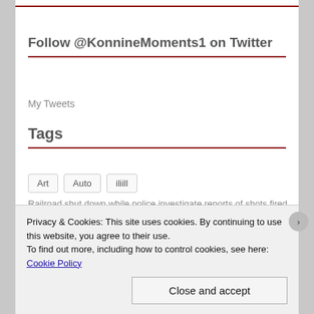Follow @KonnineMoments1 on Twitter
My Tweets
Tags
Art
Auto
iliill
Railroad shut down while police investigate reports of shots fired p
Privacy & Cookies: This site uses cookies. By continuing to use this website, you agree to their use.
To find out more, including how to control cookies, see here: Cookie Policy
Close and accept